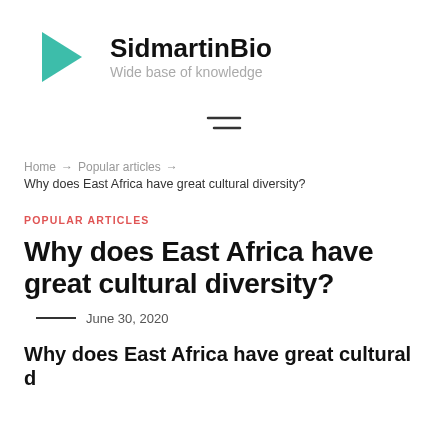[Figure (logo): SidmartinBio logo: teal left-pointing triangle with text 'SidmartinBio' in bold and subtitle 'Wide base of knowledge']
[Figure (other): Hamburger/menu icon with two horizontal lines]
Home → Popular articles → Why does East Africa have great cultural diversity?
POPULAR ARTICLES
Why does East Africa have great cultural diversity?
June 30, 2020
Why does East Africa have great cultural diversity?